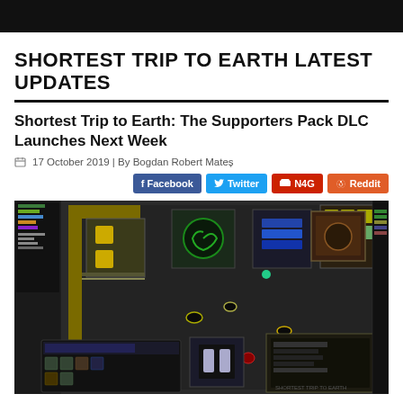SHORTEST TRIP TO EARTH LATEST UPDATES
Shortest Trip to Earth: The Supporters Pack DLC Launches Next Week
17 October 2019 | By Bogdan Robert Mateș
[Figure (screenshot): Screenshot of Shortest Trip to Earth game showing a top-down spaceship interior with various modules, items, and UI elements on a dark background]
Shortest Trip to Earth's first DLC adds a new ship type, new crew,